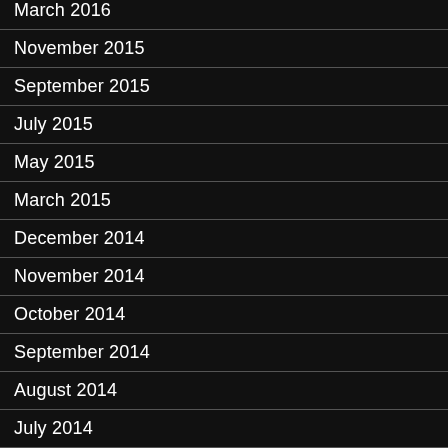March 2016
November 2015
September 2015
July 2015
May 2015
March 2015
December 2014
November 2014
October 2014
September 2014
August 2014
July 2014
June 2014